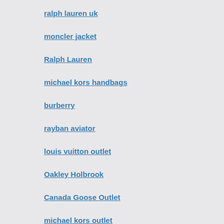ralph lauren uk
moncler jacket
Ralph Lauren
michael kors handbags
burberry
rayban aviator
louis vuitton outlet
Oakley Holbrook
Canada Goose Outlet
michael kors outlet
coach outlet